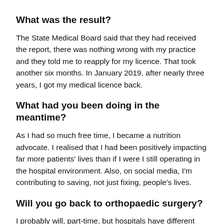What was the result?
The State Medical Board said that they had received the report, there was nothing wrong with my practice and they told me to reapply for my licence. That took another six months. In January 2019, after nearly three years, I got my medical licence back.
What had you been doing in the meantime?
As I had so much free time, I became a nutrition advocate. I realised that I had been positively impacting far more patients' lives than if I were I still operating in the hospital environment. Also, on social media, I'm contributing to saving, not just fixing, people's lives.
Will you go back to orthopaedic surgery?
I probably will, part-time, but hospitals have different goals and incentives. They have to pay the bills. I don't fit in there any